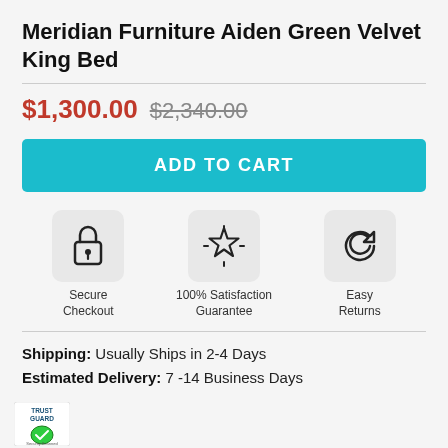Meridian Furniture Aiden Green Velvet King Bed
$1,300.00 $2,340.00
[Figure (other): ADD TO CART button in teal/cyan]
[Figure (infographic): Three trust icons: Secure Checkout (padlock), 100% Satisfaction Guarantee (star), Easy Returns (refresh arrow)]
Shipping: Usually Ships in 2-4 Days
Estimated Delivery: 7 -14 Business Days
[Figure (logo): Trust Guard Security Scanned badge]